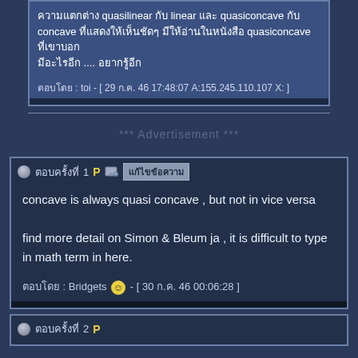ความแตกต่าง quasilinear กับ linear และ quasiconcave กับ concave ที่แสดงให้เห็นชัดๆ มีให้อ่านในหนังสือ quasiconcave .... มีอะไรอีก
ตอบโดย : toi - [ 29 ก.ค. 46 17:48:07 A:155.245.110.107 X: ]
*** Advertisement ***
ตอบครั้งที่ 1 P แก้ไขข้อความ
concave is always quasi concave , but not in vice versa

find more detail on Simon & Bleum ja , it is difficult to type in math term in here.
ตอบโดย : Bridgets 😊 - [ 30 ก.ค. 46 00:06:28 ]
ตอบครั้งที่ 2 P